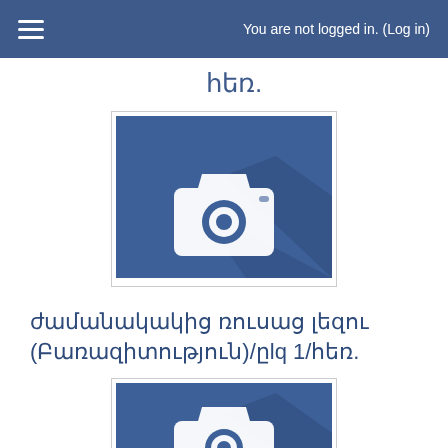You are not logged in. (Log in)
հեռ.
[Figure (illustration): Camera placeholder icon on blue background with shadow]
ժամանակակից ռուսաց լեզու (Բառազիտություն)/ըlq 1/հեռ.
[Figure (illustration): Camera placeholder icon on blue background with shadow (second instance)]